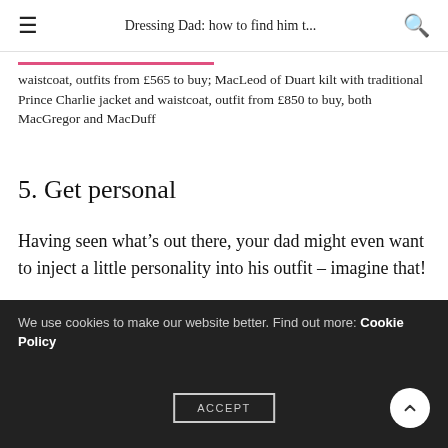Dressing Dad: how to find him t...
waistcoat, outfits from £565 to buy; MacLeod of Duart kilt with traditional Prince Charlie jacket and waistcoat, outfit from £850 to buy, both MacGregor and MacDuff
5. Get personal
Having seen what's out there, your dad might even want to inject a little personality into his outfit – imagine that!
“This can be achieved in many ways,” reckons Izzy.
We use cookies to make our website better. Find out more: Cookie Policy